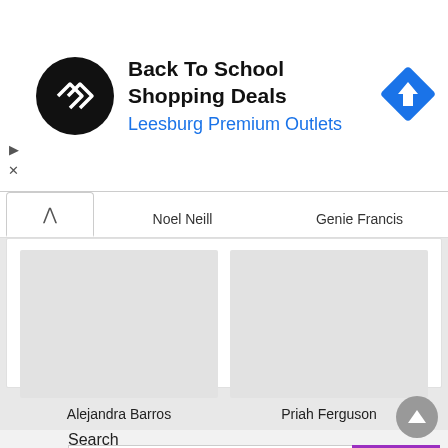[Figure (screenshot): Advertisement banner for Back To School Shopping Deals at Leesburg Premium Outlets, with circular logo and blue navigation icon]
Noel Neill
Genie Francis
[Figure (photo): Gray placeholder image for Alejandra Barros]
Alejandra Barros
[Figure (photo): Gray placeholder image for Priah Ferguson]
Priah Ferguson
Search
[Figure (screenshot): Search input box with purple Search button]